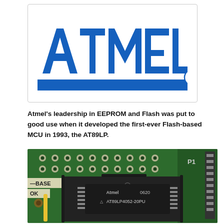[Figure (logo): Atmel corporation logo in blue with registered trademark symbol on a white background with light grey border]
Atmel's leadership in EEPROM and Flash was put to good use when it developed the first-ever Flash-based MCU in 1993, the AT89LP.
[Figure (photo): Close-up photo of a green PCB circuit board with an Atmel AT89LP4052-20PU DIP integrated circuit chip in a socket. The chip shows the Atmel logo and part number 0620 AT89LP4052-20PU.]